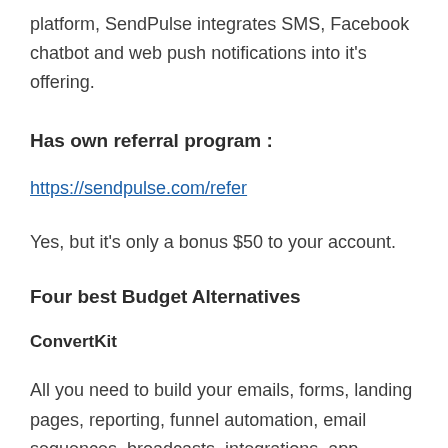platform, SendPulse integrates SMS, Facebook chatbot and web push notifications into it's offering.
Has own referral program :
https://sendpulse.com/refer
Yes, but it's only a bonus $50 to your account.
Four best Budget Alternatives
ConvertKit
All you need to build your emails, forms, landing pages, reporting, funnel automation, email sequences, broadcasts, integrations, app.